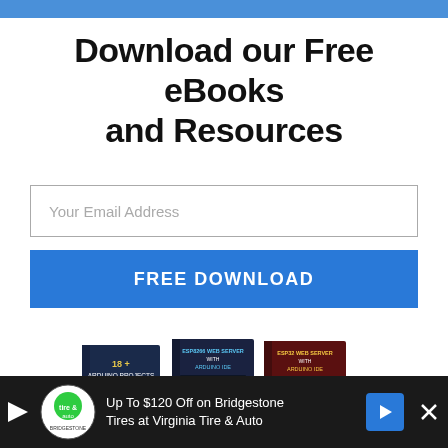Download our Free eBooks and Resources
Your Email Address
FREE DOWNLOAD
[Figure (illustration): Three book covers: '18+ Arduino Projects', 'ESP8266 Web Server with Arduino IDE', 'ESP32 Web Server with Arduino IDE', plus partial covers for 'Ultimate Guide for Arduino School Modules' and 'Arduino Mini Course']
Up To $120 Off on Bridgestone Tires at Virginia Tire & Auto